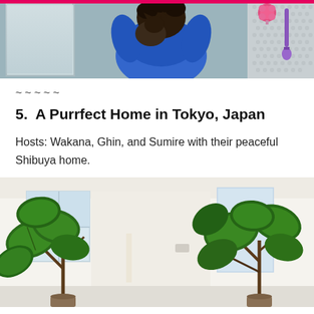[Figure (photo): Person in blue sweater hugging a dark-haired cat near a window; pink accessories visible on right side (pom-pom, hair brush)]
~~~~~
5.  A Purrfect Home in Tokyo, Japan
Hosts: Wakana, Ghin, and Sumire with their peaceful Shibuya home.
[Figure (photo): Bright modern white interior room with two large tropical houseplants (fiddle leaf fig or similar) with big green leaves, windows letting in natural light]